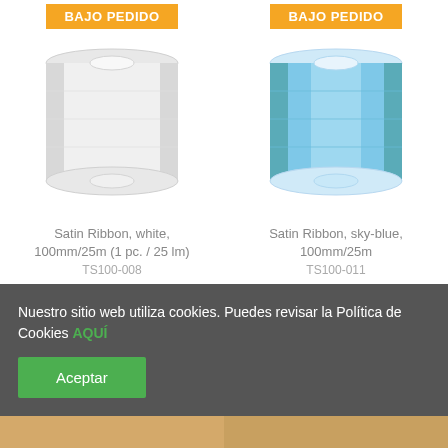[Figure (photo): Two satin ribbon spools: white (left) and sky-blue (right), both with BAJO PEDIDO orange badge at top]
Satin Ribbon, white, 100mm/25m (1 pc. / 25 lm)
TS100-008
Satin Ribbon, sky-blue, 100mm/25m
TS100-011
Nuestro sitio web utiliza cookies. Puedes revisar la Política de Cookies AQUÍ
Aceptar